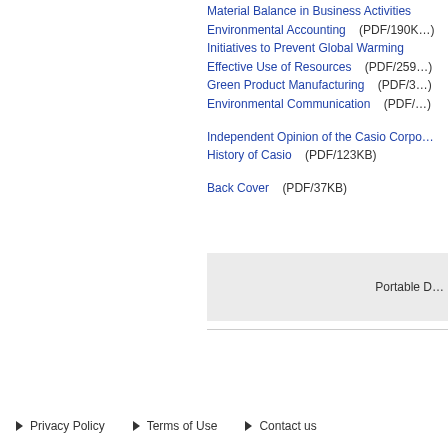Material Balance in Business Activities
Environmental Accounting    (PDF/190KB)
Initiatives to Prevent Global Warming
Effective Use of Resources    (PDF/259KB)
Green Product Manufacturing    (PDF/3…)
Environmental Communication    (PDF/…)
Independent Opinion of the Casio Corpo…
History of Casio    (PDF/123KB)
Back Cover    (PDF/37KB)
Portable D…
► Privacy Policy    ► Terms of Use    ► Contact us